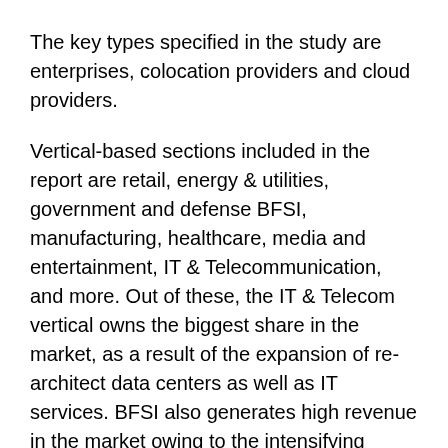The key types specified in the study are enterprises, colocation providers and cloud providers.
Vertical-based sections included in the report are retail, energy & utilities, government and defense BFSI, manufacturing, healthcare, media and entertainment, IT & Telecommunication, and more. Out of these, the IT & Telecom vertical owns the biggest share in the market, as a result of the expansion of re-architect data centers as well as IT services. BFSI also generates high revenue in the market owing to the intensifying competition across the financial sector, surge in consumer trends and rising need for fraud detection. These aspects are leading to higher consumption of hyper scale data centers for better efficiency.
Regional Insight
The hyper scale data center industry can note significant